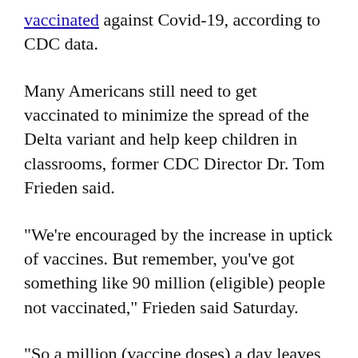vaccinated against Covid-19, according to CDC data.
Many Americans still need to get vaccinated to minimize the spread of the Delta variant and help keep children in classrooms, former CDC Director Dr. Tom Frieden said.
“We’re encouraged by the increase in uptick of vaccines. But remember, you’ve got something like 90 million (eligible) people not vaccinated,” Frieden said Saturday.
“So a million (vaccine doses) a day leaves you